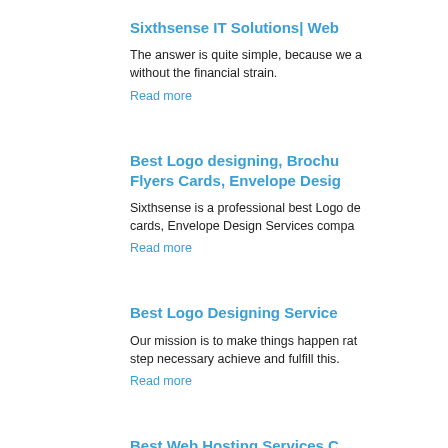Sixthsense IT Solutions| Web
The answer is quite simple, because we a without the financial strain.
Read more
Best Logo designing, Brochu Flyers Cards, Envelope Desig
Sixthsense is a professional best Logo de cards, Envelope Design Services compa
Read more
Best Logo Designing Service
Our mission is to make things happen rat step necessary achieve and fulfill this.
Read more
Best Web Hosting Services C
Domain names and web hosting compan and website builder tools cheap.
Read more